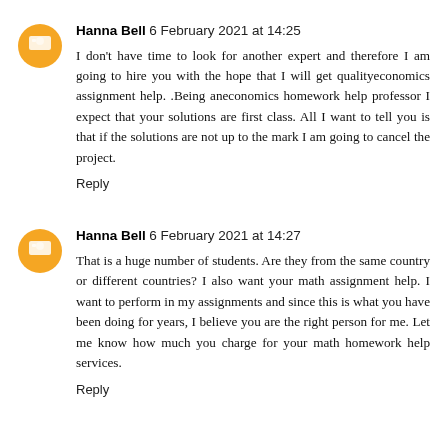Hanna Bell 6 February 2021 at 14:25
I don't have time to look for another expert and therefore I am going to hire you with the hope that I will get qualityeconomics assignment help. .Being aneconomics homework help professor I expect that your solutions are first class. All I want to tell you is that if the solutions are not up to the mark I am going to cancel the project.
Reply
Hanna Bell 6 February 2021 at 14:27
That is a huge number of students. Are they from the same country or different countries? I also want your math assignment help. I want to perform in my assignments and since this is what you have been doing for years, I believe you are the right person for me. Let me know how much you charge for your math homework help services.
Reply